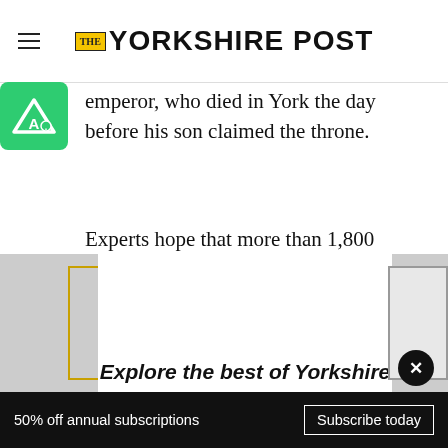The Yorkshire Post
emperor, who died in York the day before his son claimed the throne.
Experts hope that more than 1,800 copper coins, found buried a metre deep in a pot about the size of a biscuit tin, will unlock a few secrets in Constantine’s family tree. They might even, after 1,700 years, tell us who it was that put them there.
Explore the best of Yorkshire
50% off annual subscriptions
Subscribe today